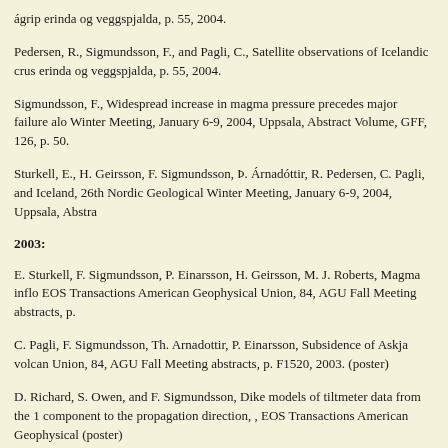ágrip erinda og veggspjalda, p. 55, 2004.
Pedersen, R., Sigmundsson, F., and Pagli, C., Satellite observations of Icelandic crus erinda og veggspjalda, p. 55, 2004.
Sigmundsson, F., Widespread increase in magma pressure precedes major failure alo Winter Meeting, January 6-9, 2004, Uppsala, Abstract Volume, GFF, 126, p. 50.
Sturkell, E., H. Geirsson, F. Sigmundsson, Þ. Árnadóttir, R. Pedersen, C. Pagli, and Iceland, 26th Nordic Geological Winter Meeting, January 6-9, 2004, Uppsala, Abstra
2003:
E. Sturkell, F. Sigmundsson, P. Einarsson, H. Geirsson, M. J. Roberts, Magma inflo EOS Transactions American Geophysical Union, 84, AGU Fall Meeting abstracts, p.
C. Pagli, F. Sigmundsson, Th. Arnadottir, P. Einarsson, Subsidence of Askja volcan Union, 84, AGU Fall Meeting abstracts, p. F1520, 2003. (poster)
D. Richard, S. Owen, and F. Sigmundsson, Dike models of tiltmeter data from the 1 component to the propagation direction, , EOS Transactions American Geophysical (poster)
F. Sigmundsson, Kvikuhreyfingar og eldgosahætta í og við vatnsverndarsvæði Reyk höfuðborgarsvæðinu, 12. nóvember 2003, Reykjavíkurborg.
F. Sigmundsson, and P. Einarsson., Rheology of hotspot-ridge interaction: Observati